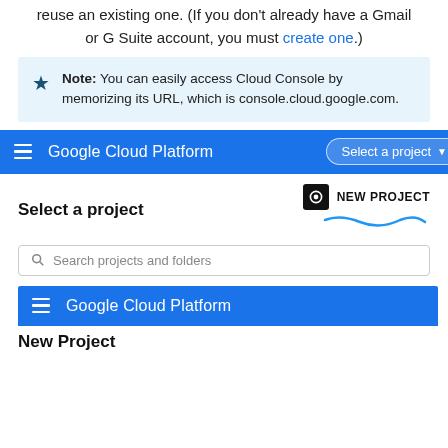reuse an existing one. (If you don't already have a Gmail or G Suite account, you must create one.)
Note: You can easily access Cloud Console by memorizing its URL, which is console.cloud.google.com.
[Figure (screenshot): Google Cloud Platform navigation bar with 'Select a project' dropdown button highlighted with a blue oval]
Select a project
[Figure (screenshot): NEW PROJECT button with camera icon and blue squiggle underline annotation]
[Figure (screenshot): Search projects and folders input box]
[Figure (screenshot): Google Cloud Platform navigation bar]
New Project